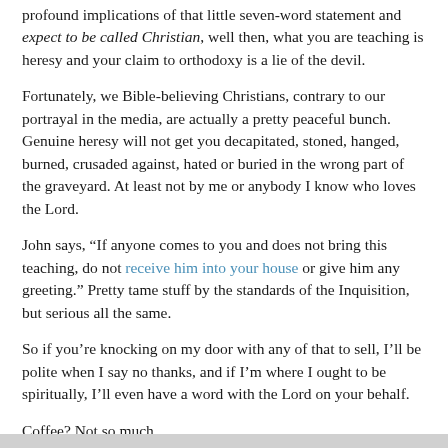profound implications of that little seven-word statement and expect to be called Christian, well then, what you are teaching is heresy and your claim to orthodoxy is a lie of the devil.
Fortunately, we Bible-believing Christians, contrary to our portrayal in the media, are actually a pretty peaceful bunch. Genuine heresy will not get you decapitated, stoned, hanged, burned, crusaded against, hated or buried in the wrong part of the graveyard. At least not by me or anybody I know who loves the Lord.
John says, “If anyone comes to you and does not bring this teaching, do not receive him into your house or give him any greeting.” Pretty tame stuff by the standards of the Inquisition, but serious all the same.
So if you’re knocking on my door with any of that to sell, I’ll be polite when I say no thanks, and if I’m where I ought to be spiritually, I’ll even have a word with the Lord on your behalf.
Coffee? Not so much.